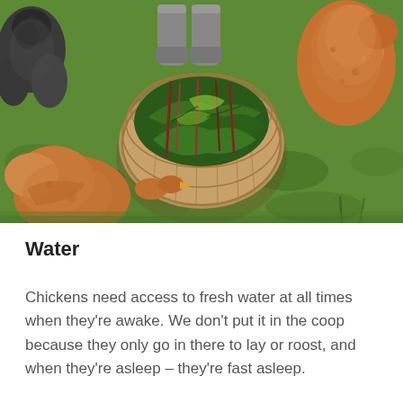[Figure (photo): Overhead view of chickens on grass around a wicker basket filled with green leafy vegetables. A brown chicken pecks at the basket from the lower left, another brown chicken is visible top right, a dark chicken top left, and grey rubber boots are visible top center.]
Water
Chickens need access to fresh water at all times when they're awake. We don't put it in the coop because they only go in there to lay or roost, and when they're asleep – they're fast asleep.